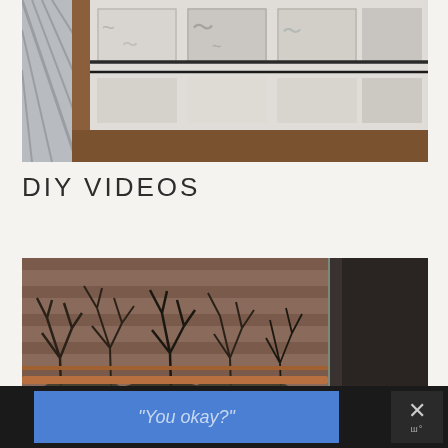[Figure (photo): Indoor photo looking up at a ceiling with decorative panels, wooden trim framing, and metal rods or pipes visible. White ceiling tiles with grey pattern.]
DIY VIDEOS
[Figure (photo): Outdoor view through a window showing bare winter trees against a brick wall background, with copper pipes or railing in the foreground.]
[Figure (screenshot): Advertisement overlay bar: blue rectangle with italic text 'You okay?' and a close button with X symbol and brand logo on dark background.]